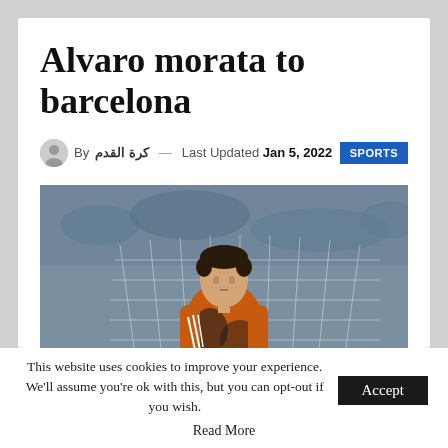Alvaro morata to barcelona
By كرة القدم — Last Updated Jan 5, 2022   SPORTS
[Figure (photo): Alvaro Morata in an orange Juventus Jeep jersey standing in front of a football goal net, with a stadium crowd visible in the background.]
This website uses cookies to improve your experience. We'll assume you're ok with this, but you can opt-out if you wish.   Accept
Read More